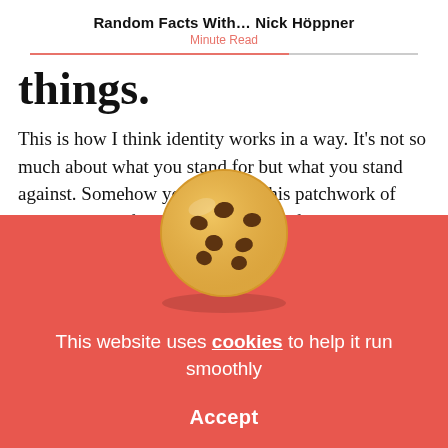Random Facts With… Nick Höppner
Minute Read
things.
This is how I think identity works in a way. It's not so much about what you stand for but what you stand against. Somehow you build up this patchwork of little patches of identity. You more often chose something by a passive or indirect way by rejecting something and over time
[Figure (illustration): Cookie emoji — a chocolate chip cookie illustration overlapping the article text and cookie consent banner]
This website uses cookies to help it run smoothly
Accept